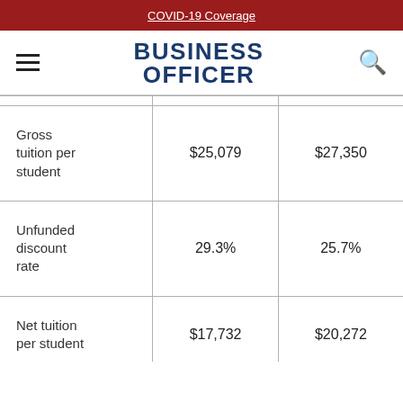COVID-19 Coverage
BUSINESS OFFICER
|  |  |  |
| --- | --- | --- |
| Gross tuition per student | $25,079 | $27,350 |
| Unfunded discount rate | 29.3% | 25.7% |
| Net tuition per student | $17,732 | $20,272 |